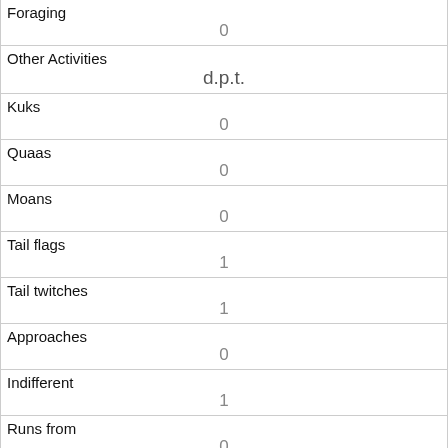| Field | Value |
| --- | --- |
| Foraging | 0 |
| Other Activities | d.p.t. |
| Kuks | 0 |
| Quaas | 0 |
| Moans | 0 |
| Tail flags | 1 |
| Tail twitches | 1 |
| Approaches | 0 |
| Indifferent | 1 |
| Runs from | 0 |
| Other Interactions |  |